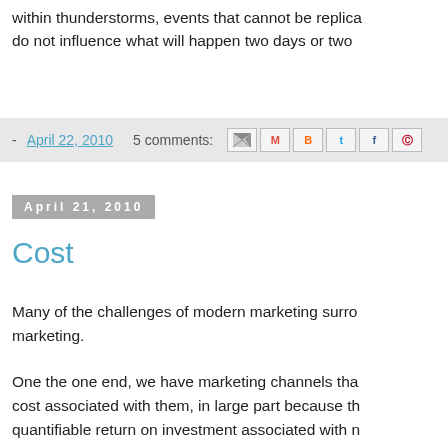within thunderstorms, events that cannot be replicated do not influence what will happen two days or two
- April 22, 2010   5 comments:
April 21, 2010
Cost
Many of the challenges of modern marketing surro marketing.
One the one end, we have marketing channels tha cost associated with them, in large part because th quantifiable return on investment associated with n channels. There is a reason it costs you six cents t a catalog mailing ... because that is the cost where enough money over time to justify the cost. There